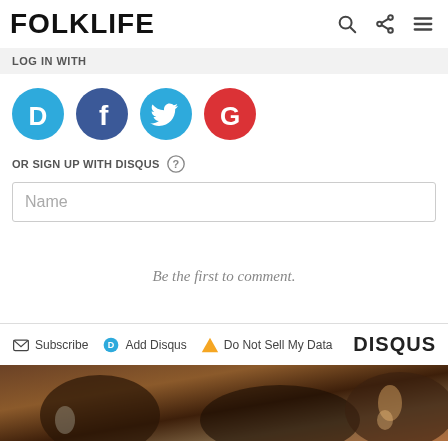FOLKLIFE
LOG IN WITH
[Figure (infographic): Social login icons: Disqus (blue speech bubble with D), Facebook (dark blue circle with F), Twitter (blue circle with bird), Google (red circle with G)]
OR SIGN UP WITH DISQUS
Name
Be the first to comment.
Subscribe  Add Disqus  Do Not Sell My Data  DISQUS
[Figure (photo): A dark photograph of people, possibly musicians, in a warm-toned indoor setting]